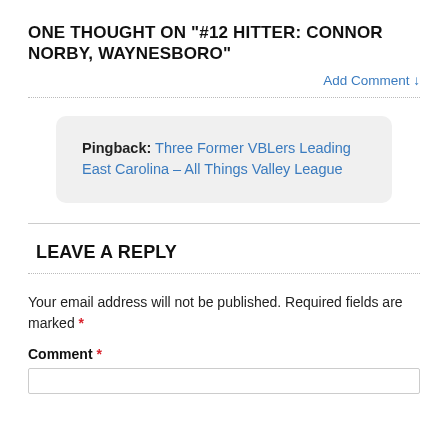ONE THOUGHT ON "#12 HITTER: CONNOR NORBY, WAYNESBORO"
Add Comment ↓
Pingback: Three Former VBLers Leading East Carolina – All Things Valley League
LEAVE A REPLY
Your email address will not be published. Required fields are marked *
Comment *